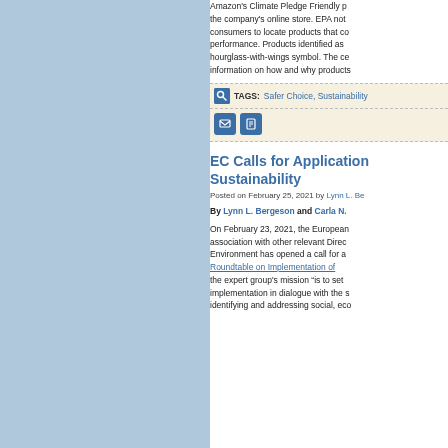Amazon's Climate Pledge Friendly program to the company's online store. EPA noted that the program helps consumers to locate products that contribute to lower environmental performance. Products identified as Climate Pledge Friendly carry a hourglass-with-wings symbol. The certification pages provide information on how and why products qualify.
TAGS: Safer Choice, Sustainability
EC Calls for Applications on Sustainability
Posted on February 25, 2021 by Lynn L. Bergeson
By Lynn L. Bergeson and Carla N.
On February 23, 2021, the European Commission in association with other relevant Directorates-General for the Environment has opened a call for applications for a Roundtable on Implementation of the EU Chemicals Strategy for Sustainability. The expert group's mission "is to set up the implementation in dialogue with the stakeholders, identifying and addressing social, eco...